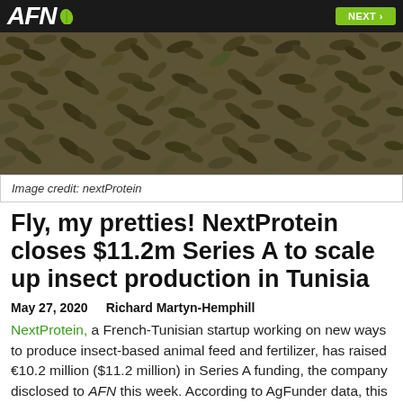AFN
[Figure (photo): Close-up photograph of numerous black soldier fly larvae or pupae, dark brown/olive colored, densely packed together.]
Image credit: nextProtein
Fly, my pretties! NextProtein closes $11.2m Series A to scale up insect production in Tunisia
May 27, 2020   Richard Martyn-Hemphill
NextProtein, a French-Tunisian startup working on new ways to produce insect-based animal feed and fertilizer, has raised €10.2 million ($11.2 million) in Series A funding, the company disclosed to AFN this week. According to AgFunder data, this is the